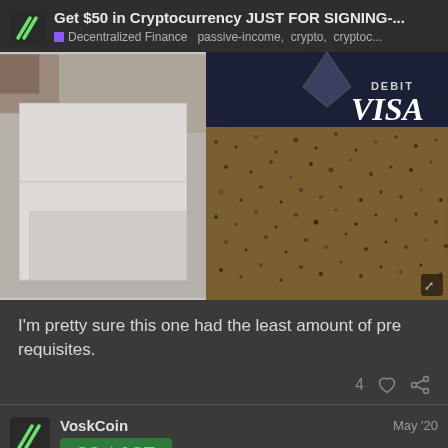Get $50 in Cryptocurrency JUST FOR SIGNING-... | Decentralized Finance  passive-income, crypto, cryptoc...
[Figure (photo): Split composite photo: left side shows a light-colored envelope/package on a textured background; right side shows a DEBIT VISA card with dark speckled/granite-like background.]
I'm pretty sure this one had the least amount of pre requisites.
4 ♡ 🔗
VoskCoin  May '20
20 / 107
Yeah, I don't think that one has any prerequ...